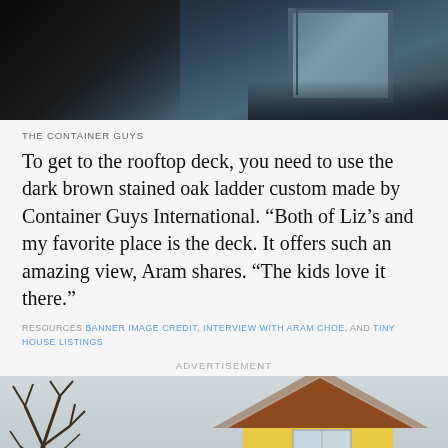[Figure (photo): Close-up photo of shipping container exterior, dark blue-grey metal with window detail visible]
THE CONTAINER GUYS
To get to the rooftop deck, you need to use the dark brown stained oak ladder custom made by Container Guys International. “Both of Liz’s and my favorite place is the deck. It offers such an amazing view, Aram shares. “The kids love it there.”
RESOURCES BANNER IMAGE CREDIT, INTERVIEW WITH ARAM CHOE, AND TINY HOUSE LISTINGS
ADVERTISEMENT
[Figure (photo): Photo of a small yellow house with wooden A-frame roof overhang, bare winter trees, snow on the ground]